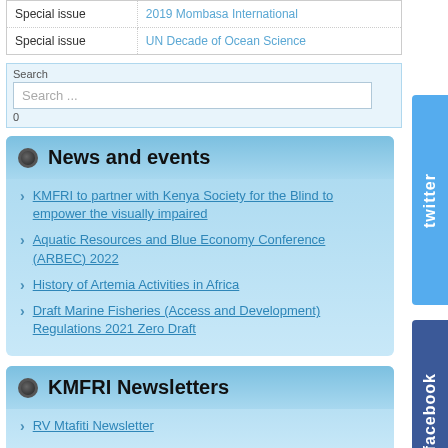|  |  |
| --- | --- |
| Special issue | 2019 Mombasa International |
| Special issue | UN Decade of Ocean Science |
Search
Search ...
0
News and events
KMFRI to partner with Kenya Society for the Blind to empower the visually impaired
Aquatic Resources and Blue Economy Conference (ARBEC) 2022
History of Artemia Activities in Africa
Draft Marine Fisheries (Access and Development) Regulations 2021 Zero Draft
KMFRI Newsletters
RV Mtafiti Newsletter